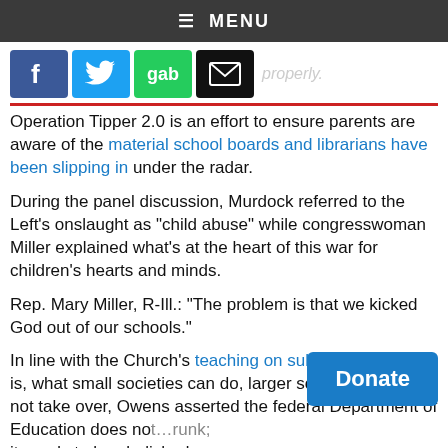≡ MENU
[Figure (other): Social media share icons: Facebook (blue), Twitter (blue bird), Gab (green), Email (black envelope)]
…display properly.
Operation Tipper 2.0 is an effort to ensure parents are aware of the material school boards and librarians have been slipping in under the radar.
During the panel discussion, Murdock referred to the Left's onslaught as "child abuse" while congresswoman Miller explained what's at the heart of this war for children's hearts and minds.
Rep. Mary Miller, R-Ill.: "The problem is that we kicked God out of our schools."
In line with the Church's teaching on subsidiarity — that is, what small societies can do, larger societies should not take over, Owens asserted the federal Department of Education does not…runk; it needs to be abolished.
Donate